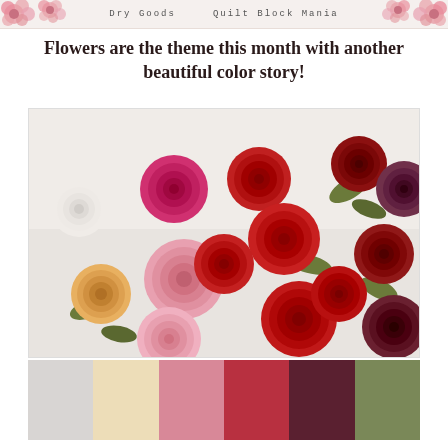Dry Goods   Quilt Block Mania
Flowers are the theme this month with another beautiful color story!
[Figure (photo): A flat-lay arrangement of roses in various colors: white, hot pink, pink, orange/yellow, light pink, red, dark red/burgundy, and deep plum/mauve, arranged on a white background.]
[Figure (infographic): Six color swatches in a row: light gray, cream/beige, dusty rose/pink, medium red, dark burgundy/maroon, and muted olive green.]